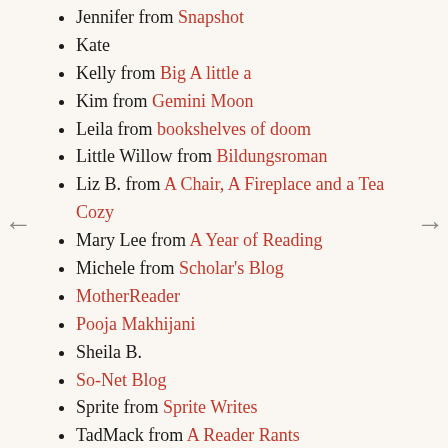Jennifer from Snapshot
Kate
Kelly from Big A little a
Kim from Gemini Moon
Leila from bookshelves of doom
Little Willow from Bildungsroman
Liz B. from A Chair, A Fireplace and a Tea Cozy
Mary Lee from A Year of Reading
Michele from Scholar's Blog
MotherReader
Pooja Makhijani
Sheila B.
So-Net Blog
Sprite from Sprite Writes
TadMack from A Reader Rants
Wisteria from Twice Bloomed Wisteria
People Who Have Linked to the Cool Boys